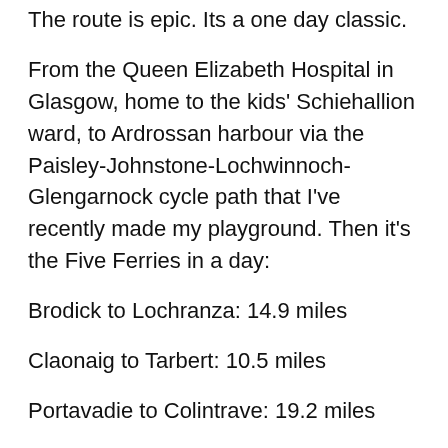The route is epic. Its a one day classic.
From the Queen Elizabeth Hospital in Glasgow, home to the kids' Schiehallion ward, to Ardrossan harbour via the Paisley-Johnstone-Lochwinnoch-Glengarnock cycle path that I've recently made my playground. Then it's the Five Ferries in a day:
Brodick to Lochranza: 14.9 miles
Claonaig to Tarbert: 10.5 miles
Portavadie to Colintrave: 19.2 miles
Colintrave to Rothesay: 8.3 miles
Wemyss Bay to Ardrossan: 18.5 miles
And finally, the reverse of the out leg from the Queen Elizabeth.